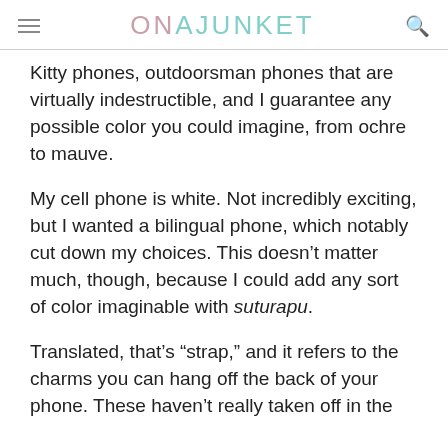ONAJUNKET
Kitty phones, outdoorsman phones that are virtually indestructible, and I guarantee any possible color you could imagine, from ochre to mauve.
My cell phone is white. Not incredibly exciting, but I wanted a bilingual phone, which notably cut down my choices. This doesn't matter much, though, because I could add any sort of color imaginable with suturapu.
Translated, that's “strap,” and it refers to the charms you can hang off the back of your phone. These haven't really taken off in the